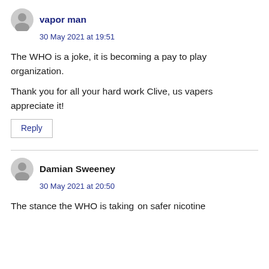vapor man
30 May 2021 at 19:51
The WHO is a joke, it is becoming a pay to play organization.
Thank you for all your hard work Clive, us vapers appreciate it!
Reply
Damian Sweeney
30 May 2021 at 20:50
The stance the WHO is taking on safer nicotine